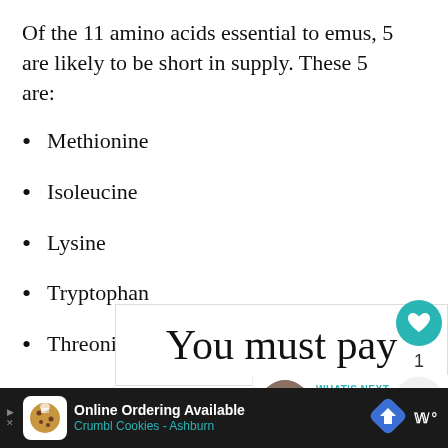Of the 11 amino acids essential to emus, 5 are likely to be short in supply. These 5 are:
Methionine
Isoleucine
Lysine
Tryptophan
Threonine
[Figure (screenshot): UI buttons: teal heart/like button with count '1' below, and a share button]
[Figure (screenshot): What's Next panel with thumbnail and text '10 Animal Companions...']
[Figure (screenshot): Paywall overlay showing large text 'You must pay']
[Figure (screenshot): Bottom advertisement banner: 'Online Ordering Available / Crumbl Cookies - Ashburn' with navigation and mute icons]